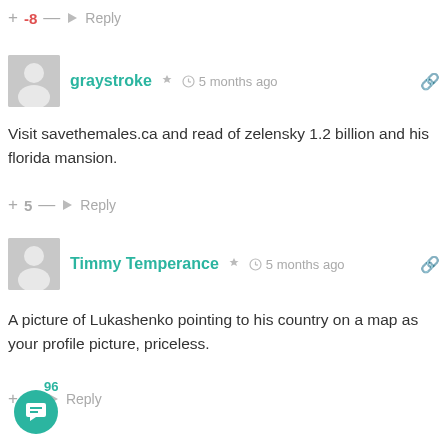+ -8 — → Reply
graystroke · 5 months ago
Visit savethemales.ca and read of zelensky 1.2 billion and his florida mansion.
+ 5 — → Reply
Timmy Temperance · 5 months ago
A picture of Lukashenko pointing to his country on a map as your profile picture, priceless.
96
+ — → Reply